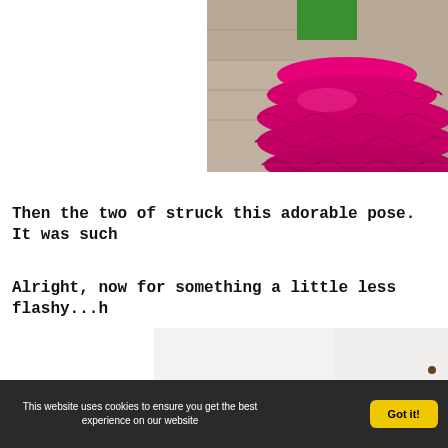[Figure (photo): Partial photo showing a child wearing a large bright pink/hot pink multi-layered ruffle dress and green top, standing on what appears to be a stone or concrete surface. Only the lower portion of the child and the voluminous dress are visible.]
Then the two of struck this adorable pose. It was such
Alright, now for something a little less flashy...h
[Figure (photo): Partial photo showing what appears to be an interior room with white walls and a wooden surface or shelf visible.]
This website uses cookies to ensure you get the best experience on our website   Got it!